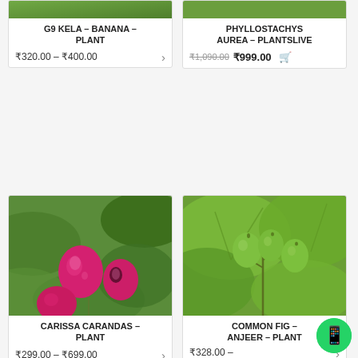[Figure (photo): Partial top photo of banana plant (G9 Kela), cropped at top]
G9 KELA – BANANA – PLANT
₹320.00 – ₹400.00
[Figure (photo): Partial view of Phyllostachys Aurea bamboo plant, cropped at top]
PHYLLOSTACHYS AUREA – PLANTSLIVE
₹1,090.00 ₹999.00
[Figure (photo): Carissa carandas plant with pink/magenta berries and green leaves]
CARISSA CARANDAS – PLANT
₹299.00 – ₹699.00
[Figure (photo): Common fig (Anjeer) plant with green figs and large green leaves]
COMMON FIG – ANJEER – PLANT
₹328.00 – ₹1,499.00
[Figure (other): WhatsApp contact button (green circle with phone icon)]